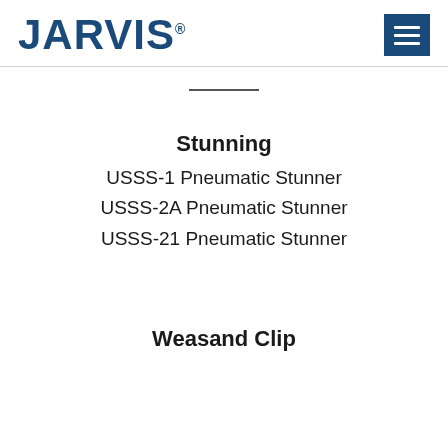JARVIS®
Stunning
USSS-1 Pneumatic Stunner
USSS-2A Pneumatic Stunner
USSS-21 Pneumatic Stunner
Weasand Clip